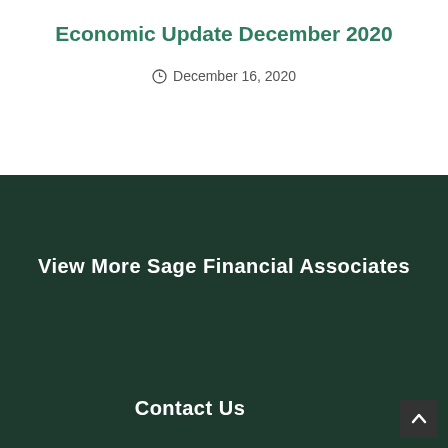[Figure (photo): Stock market ticker display banner with green and red price data on dark background]
Economic Update December 2020
December 16, 2020
View More Sage Financial Associates
Contact Us